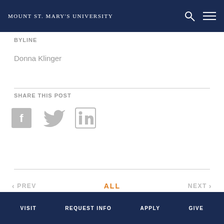MOUNT ST. MARY'S UNIVERSITY
BYLINE
Donna Klinger
SHARE THIS POST
[Figure (other): Social share icons: Facebook, Twitter, LinkedIn]
< PREV   ALL   NEXT >
VISIT   REQUEST INFO   APPLY   GIVE